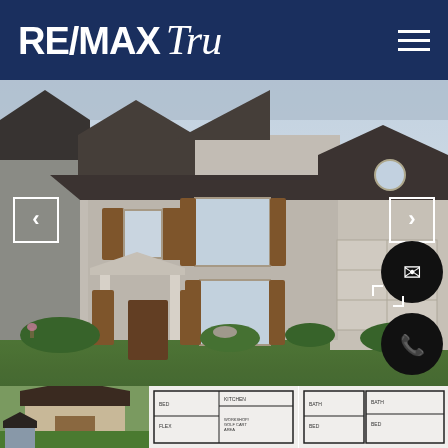[Figure (logo): RE/MAX TRU logo in white text on dark navy blue background with hamburger menu icon]
[Figure (photo): Exterior rendering of a two-story new construction home with light brick facade, brown wood shutters, covered front porch, two-car garage, green lawn. Navigation arrows on left and right sides. Email and phone contact buttons on lower right.]
[Figure (photo): Thumbnail row at bottom: exterior photo of home exterior, two floor plan blueprints]